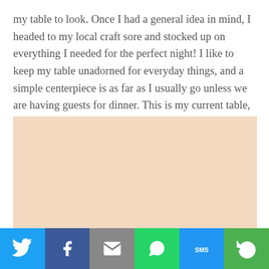my table to look. Once I had a general idea in mind, I headed to my local craft sore and stocked up on everything I needed for the perfect night! I like to keep my table unadorned for everyday things, and a simple centerpiece is as far as I usually go unless we are having guests for dinner. This is my current table, and as you can see, I'm a big fan of the minimalist look.
[Figure (photo): A photo of a minimalist dining table with a light peach/beige surface, mostly blank/empty.]
[Figure (infographic): Social sharing bar with six buttons: Twitter (blue bird icon), Facebook (dark blue f icon), Email (grey envelope icon), WhatsApp (green speech bubble icon), SMS (blue SMS icon), More (green circular arrow icon).]